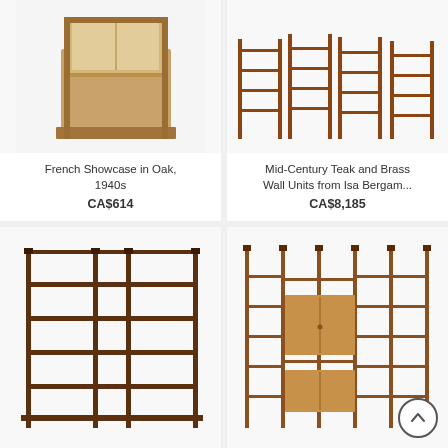[Figure (photo): French Showcase in Oak furniture piece, a display cabinet with glass panels, 1940s style]
French Showcase in Oak, 1940s
CA$614
[Figure (photo): Mid-Century Teak and Brass Wall Units from Isa Bergamo, showing multiple wall-mounted shelving units]
Mid-Century Teak and Brass Wall Units from Isa Bergam...
CA$8,185
[Figure (photo): Large mid-century modern wall shelving unit with dark wood frame and multiple horizontal shelves arranged in a grid pattern]
[Figure (photo): Teak wall unit with vertical poles and horizontal shelves, featuring a cabinet module in the middle section]